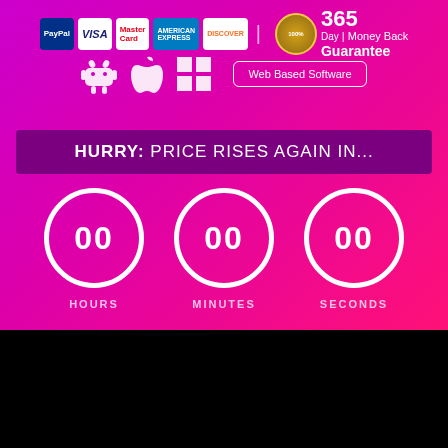[Figure (infographic): Payment logos: PayPal, Visa, MasterCard, American Express, Discover, 100% 365 Day Money Back Guarantee badge]
[Figure (infographic): Platform icons: Android, Apple, Windows, Web Based Software button]
HURRY: PRICE RISES AGAIN IN...
[Figure (infographic): Countdown timer showing 00 HOURS, 00 MINUTES, 00 SECONDS with circular displays]